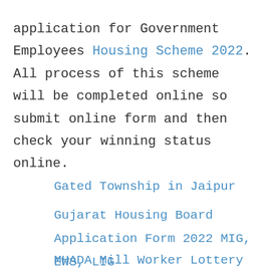application for Government Employees Housing Scheme 2022. All process of this scheme will be completed online so submit online form and then check your winning status online.
Gated Township in Jaipur
Gujarat Housing Board Application Form 2022 MIG, EWS, LIG
MHADA Mill Worker Lottery 2022 Date